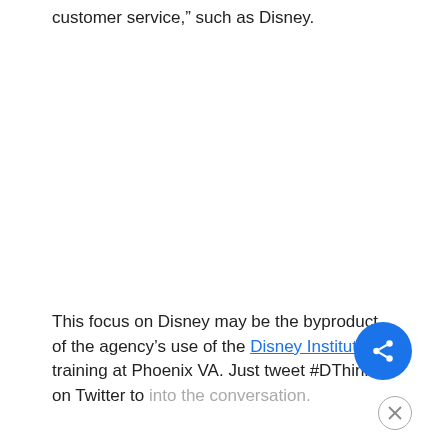customer service," such as Disney.
This focus on Disney may be the byproduct of the agency's use of the Disney Institute training at Phoenix VA. Just tweet #DThink on Twitter to into the conversation.